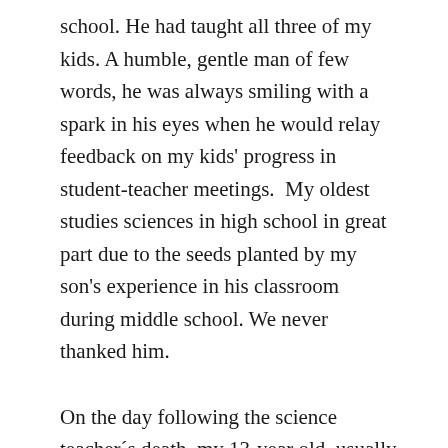school. He had taught all three of my kids. A humble, gentle man of few words, he was always smiling with a spark in his eyes when he would relay feedback on my kids' progress in student-teacher meetings.  My oldest studies sciences in high school in great part due to the seeds planted by my son's experience in his classroom during middle school. We never thanked him.

On the day following the science teacher´s death, my 13-year old, usually quiet and reserved, spoke up in class to ask his teachers what they thought about what had happened. In his questions, there were so